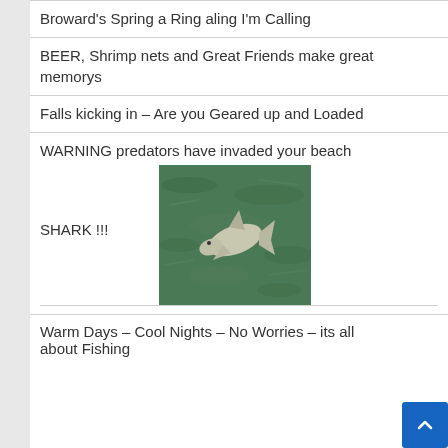Broward's Spring a Ring aling I'm Calling
BEER, Shrimp nets and Great Friends make great memorys
Falls kicking in – Are you Geared up and Loaded
WARNING predators have invaded your beach
SHARK !!!
[Figure (photo): Aerial or overhead photo of a shark visible in green water near a beach]
Warm Days – Cool Nights – No Worries – its all about Fishing